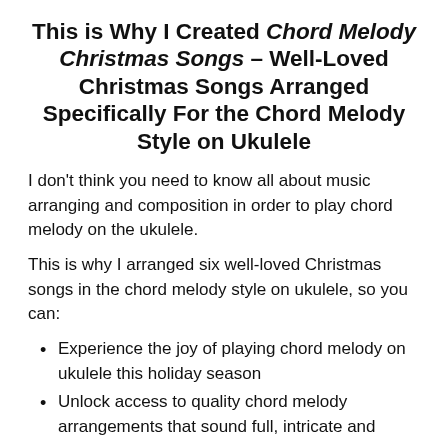This is Why I Created Chord Melody Christmas Songs – Well-Loved Christmas Songs Arranged Specifically For the Chord Melody Style on Ukulele
I don't think you need to know all about music arranging and composition in order to play chord melody on the ukulele.
This is why I arranged six well-loved Christmas songs in the chord melody style on ukulele, so you can:
Experience the joy of playing chord melody on ukulele this holiday season
Unlock access to quality chord melody arrangements that sound full, intricate and